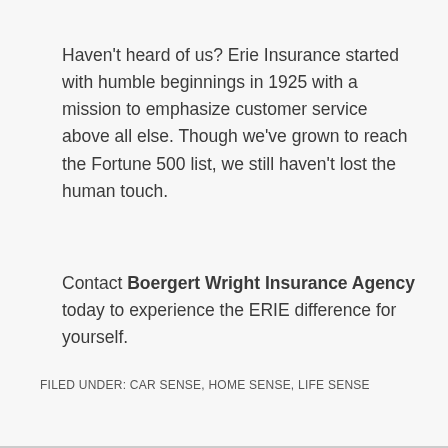Haven't heard of us? Erie Insurance started with humble beginnings in 1925 with a mission to emphasize customer service above all else. Though we've grown to reach the Fortune 500 list, we still haven't lost the human touch.
Contact Boergert Wright Insurance Agency today to experience the ERIE difference for yourself.
FILED UNDER: CAR SENSE, HOME SENSE, LIFE SENSE